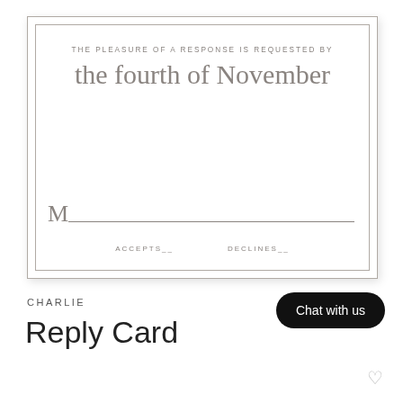[Figure (other): Wedding RSVP reply card with double-line border. Contains text: 'THE PLEASURE OF A RESPONSE IS REQUESTED BY' in small caps, then in script font 'the fourth of November', then a name line starting with script 'M' followed by a long underline, then 'ACCEPTS__' and 'DECLINES__' in small uppercase letters.]
CHARLIE
Reply Card
Chat with us